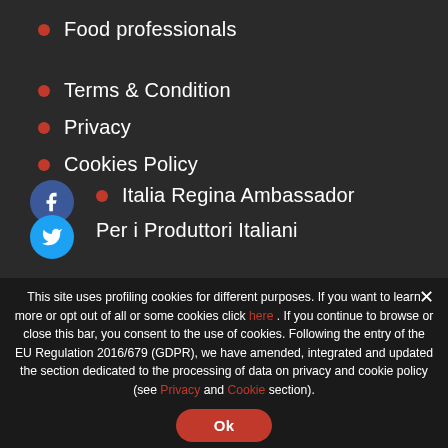Food professionals
Terms & Condition
Privacy
Cookies Policy
Italia Regina Ambassador
Per i Produttori Italiani
This site uses profiling cookies for different purposes. If you want to learn more or opt out of all or some cookies click here . If you continue to browse or close this bar, you consent to the use of cookies. Following the entry of the EU Regulation 2016/679 (GDPR), we have amended, integrated and updated the section dedicated to the processing of data on privacy and cookie policy (see Privacy and Cookie section).